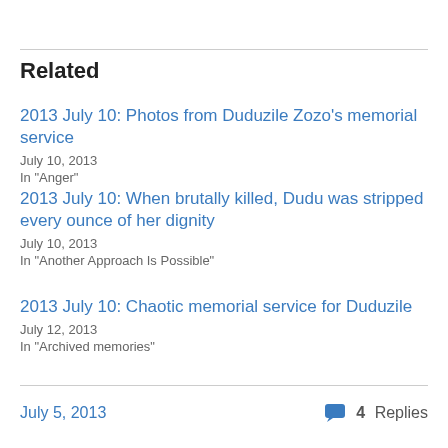Related
2013 July 10: Photos from Duduzile Zozo's memorial service
July 10, 2013
In "Anger"
2013 July 10: When brutally killed, Dudu was stripped every ounce of her dignity
July 10, 2013
In "Another Approach Is Possible"
2013 July 10: Chaotic memorial service for Duduzile
July 12, 2013
In "Archived memories"
July 5, 2013
4 Replies